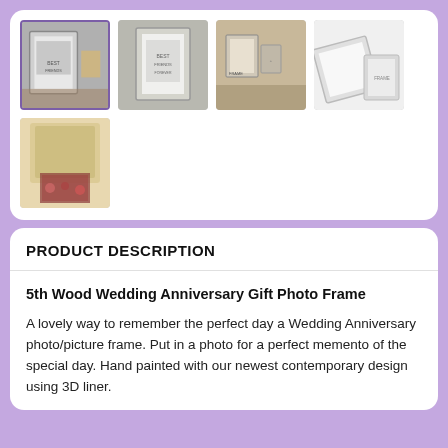[Figure (photo): Product image gallery showing 5 thumbnail photos of a wedding anniversary photo frame. Top row: 4 thumbnails (first selected with purple border, shows silver frame on counter; second shows frame product shot; third shows frames displayed on table; fourth shows frame flat/open). Bottom row: 1 thumbnail showing packaged product in gift wrap.]
PRODUCT DESCRIPTION
5th Wood Wedding Anniversary Gift Photo Frame
A lovely way to remember the perfect day a Wedding Anniversary photo/picture frame. Put in a photo for a perfect memento of the special day. Hand painted with our newest contemporary design using 3D liner.